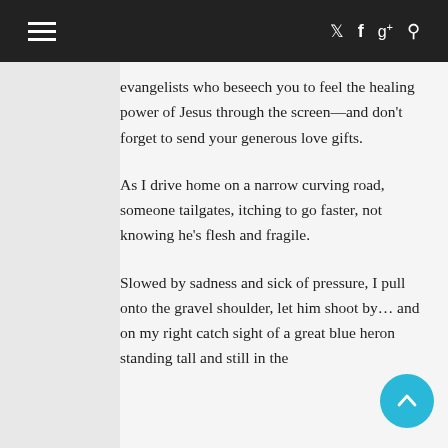≡ [twitter] [facebook] [google+] [search]
evangelists who beseech you to feel the healing power of Jesus through the screen—and don't forget to send your generous love gifts.
As I drive home on a narrow curving road, someone tailgates, itching to go faster, not knowing he's flesh and fragile.
Slowed by sadness and sick of pressure, I pull onto the gravel shoulder, let him shoot by… and on my right catch sight of a great blue heron standing tall and still in the